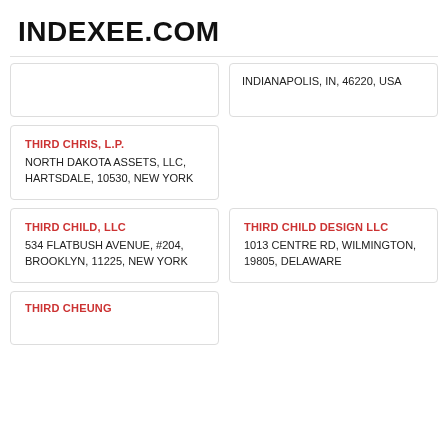INDEXEE.COM
INDIANAPOLIS, IN, 46220, USA
THIRD CHRIS, L.P.
NORTH DAKOTA ASSETS, LLC, HARTSDALE, 10530, NEW YORK
THIRD CHILD, LLC
534 FLATBUSH AVENUE, #204, BROOKLYN, 11225, NEW YORK
THIRD CHILD DESIGN LLC
1013 CENTRE RD, WILMINGTON, 19805, DELAWARE
THIRD CHEUNG...